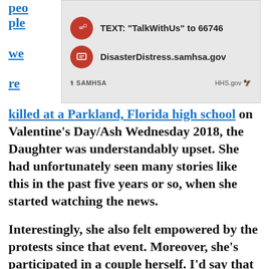people we re
[Figure (screenshot): SAMHSA Disaster Distress Helpline advertisement showing TEXT: 'TalkWithUs' to 66746 and DisasterDistress.samhsa.gov with SAMHSA and HHS.gov logos]
killed at a Parkland, Florida high school on Valentine's Day/Ash Wednesday 2018, the Daughter was understandably upset. She had unfortunately seen many stories like this in the past five years or so, when she started watching the news.
Interestingly, she also felt empowered by the protests since that event. Moreover, she's participated in a couple herself. I'd say that I have no idea where she got this activism streak, but I suppose that would be a lie.